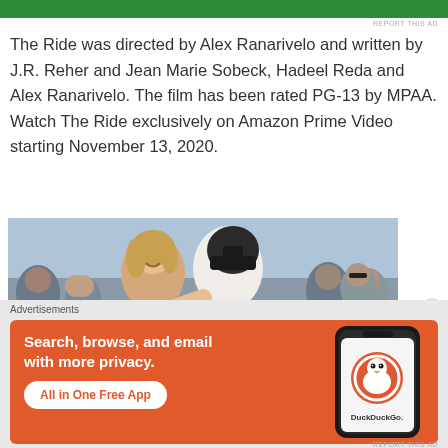[Figure (other): Green advertisement banner at top of page]
REPORT THIS AD
The Ride was directed by Alex Ranarivelo and written by J.R. Reher and Jean Marie Sobeck, Hadeel Reda and Alex Ranarivelo. The film has been rated PG-13 by MPAA. Watch The Ride exclusively on Amazon Prime Video starting November 13, 2020.
[Figure (photo): A woman and a man wearing a helmet embracing and celebrating in a crowd of people at what appears to be a motorsport or sporting event]
Advertisements
[Figure (other): DuckDuckGo advertisement banner with orange background showing text 'Search, browse, and email with more privacy. All in One Free App' alongside a phone showing the DuckDuckGo app]
REPORT THIS AD